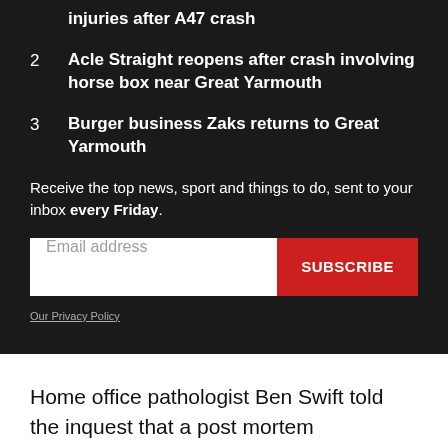injuries after A47 crash
2  Acle Straight reopens after crash involving horse box near Great Yarmouth
3  Burger business Zaks returns to Great Yarmouth
Receive the top news, sport and things to do, sent to your inbox every Friday.
Email address  SUBSCRIBE
Our Privacy Policy
Home office pathologist Ben Swift told the inquest that a post mortem examination revealed Mr Austin had inhaled smoke from the fire and was suffering from